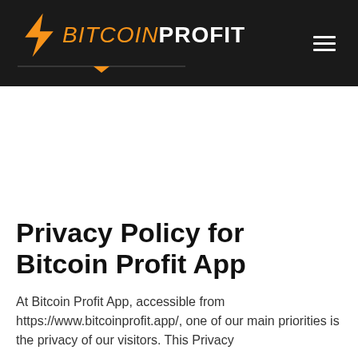[Figure (logo): Bitcoin Profit App logo with orange lightning bolt icon and wordmark on dark background header with hamburger menu icon on the right]
Privacy Policy for Bitcoin Profit App
At Bitcoin Profit App, accessible from https://www.bitcoinprofit.app/, one of our main priorities is the privacy of our visitors. This Privacy